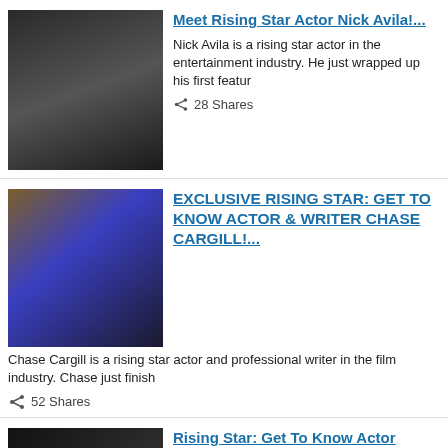[Figure (photo): Headshot of Nick Avila, a man in a black t-shirt]
Meet Rising Star Actor Nick Avila!...
Nick Avila is a rising star actor in the entertainment industry. He just wrapped up his first featur
28 Shares
[Figure (photo): Headshot of Chase Cargill, a man in a blue jacket]
EXCLUSIVE RISING STAR: GET TO KNOW ACTOR & WRITER CHASE CARGILL!...
Chase Cargill is a rising star actor and professional writer in the film industry. Chase just finish
52 Shares
[Figure (photo): Headshot of Kareem Crowley, a man in a cap]
Rising Star: Get To Know Actor Kareem Crowley!...
Kareem Crowley is an American Actor with amazing drive and motivation. He is one of the rising stars
38 Shares
[Figure (photo): Headshot of Marquis Magwood, a man looking at camera]
Catching Up with Rising Star Actor Marquis Magwood!...